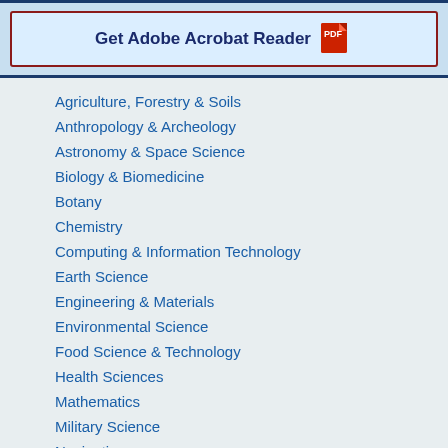[Figure (other): Get Adobe Acrobat Reader button with PDF icon, inside a bordered box with light blue background]
Agriculture, Forestry & Soils
Anthropology & Archeology
Astronomy & Space Science
Biology & Biomedicine
Botany
Chemistry
Computing & Information Technology
Earth Science
Engineering & Materials
Environmental Science
Food Science & Technology
Health Sciences
Mathematics
Military Science
Navigation
Paleontology
Physics
Psychiatry & Psychology
Science Theory & Philosophy